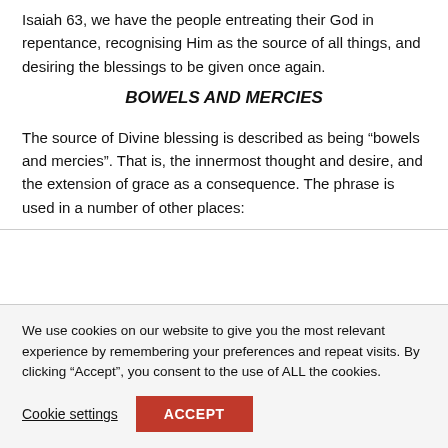Isaiah 63, we have the people entreating their God in repentance, recognising Him as the source of all things, and desiring the blessings to be given once again.
BOWELS AND MERCIES
The source of Divine blessing is described as being “bowels and mercies”. That is, the innermost thought and desire, and the extension of grace as a consequence. The phrase is used in a number of other places:
We use cookies on our website to give you the most relevant experience by remembering your preferences and repeat visits. By clicking “Accept”, you consent to the use of ALL the cookies.
Cookie settings   ACCEPT